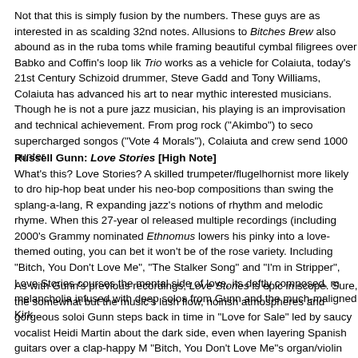Not that this is simply fusion by the numbers. These guys are as interested in as scalding 32nd notes. Allusions to Bitches Brew also abound as in the ruba toms while framing beautiful cymbal filigrees over Babko and Coffin's loop lik Trio works as a vehicle for Colaiuta, today's 21st Century Schizoid drummer, Steve Gadd and Tony Williams, Colaiuta has advanced his art to near mythic interested musicians. Though he is not a pure jazz musician, his playing is an improvisation and technical achievement. From prog rock ("Akimbo") to seco supercharged songos ("Vote 4 Morals"), Colaiuta and crew send 1000 punter
Russell Gunn: Love Stories [High Note]
What's this? Love Stories? A skilled trumpeter/flugelhornist more likely to dro hip-hop beat under his neo-bop compositions than swing the splang-a-lang, R expanding jazz's notions of rhythm and melodic rhyme. When this 27-year ol released multiple recordings (including 2000's Grammy nominated Ethnomus lowers his pinky into a love-themed outing, you can bet it won't be of the rose variety. Including "Bitch, You Don't Love Me", "The Stalker Song" and "I'm in Stripper", Love Stories courses the mental side of love, its deftly composed, m melancholia infused with deep solos from Gunn and the much-maligned Kirk
As with Gunn's previous recordings, Love Stories is epic in scope. Sure, the somewhat but the music's lush flow, noirish atmospheres and gorgeous soloi Gunn steps back in time in "Love for Sale" led by saucy vocalist Heidi Martin about the dark side, even when layering Spanish guitars over a clap-happy M "Bitch, You Don't Love Me"s organ/violin pizzicato intro recalls "East St. Loui